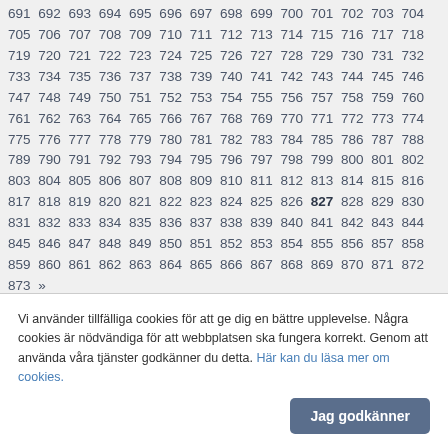691 692 693 694 695 696 697 698 699 700 701 702 703 704 705 706 707 708 709 710 711 712 713 714 715 716 717 718 719 720 721 722 723 724 725 726 727 728 729 730 731 732 733 734 735 736 737 738 739 740 741 742 743 744 745 746 747 748 749 750 751 752 753 754 755 756 757 758 759 760 761 762 763 764 765 766 767 768 769 770 771 772 773 774 775 776 777 778 779 780 781 782 783 784 785 786 787 788 789 790 791 792 793 794 795 796 797 798 799 800 801 802 803 804 805 806 807 808 809 810 811 812 813 814 815 816 817 818 819 820 821 822 823 824 825 826 827 828 829 830 831 832 833 834 835 836 837 838 839 840 841 842 843 844 845 846 847 848 849 850 851 852 853 854 855 856 857 858 859 860 861 862 863 864 865 866 867 868 869 870 871 872 873 »
[Figure (other): Bracket Masters logo — green rectangle with white bold text reading BRACKET MASTERS]
Vi använder tillfälliga cookies för att ge dig en bättre upplevelse. Några cookies är nödvändiga för att webbplatsen ska fungera korrekt. Genom att använda våra tjänster godkänner du detta. Här kan du läsa mer om cookies.